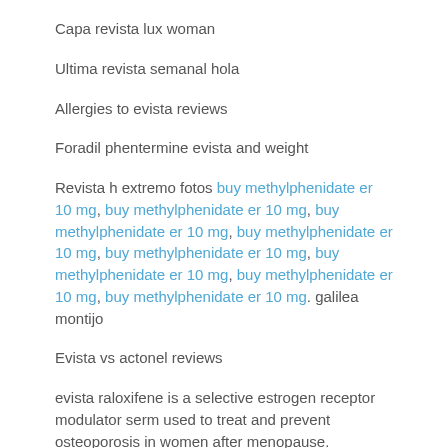Capa revista lux woman
Ultima revista semanal hola
Allergies to evista reviews
Foradil phentermine evista and weight
Revista h extremo fotos buy methylphenidate er 10 mg, buy methylphenidate er 10 mg, buy methylphenidate er 10 mg, buy methylphenidate er 10 mg, buy methylphenidate er 10 mg, buy methylphenidate er 10 mg, buy methylphenidate er 10 mg, buy methylphenidate er 10 mg. galilea montijo
Evista vs actonel reviews
evista raloxifene is a selective estrogen receptor modulator serm used to treat and prevent osteoporosis in women after menopause.